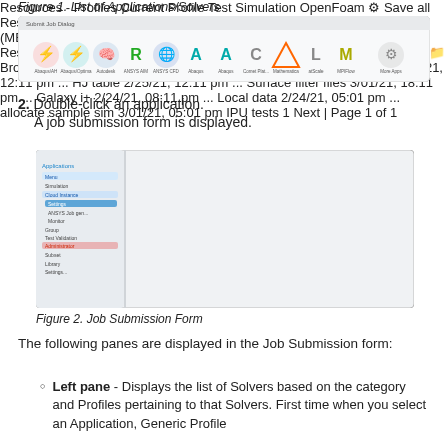Figure 1. List of Applications/Solvers
[Figure (screenshot): Screenshot showing Submit Job Dialog with a list of application/solver icons including Abaqus/AH, Abaqus/Optima, Autodesk, ANSYS AIM, ANSYS CDF, Abaqus, Abaqus, Comet Platform, Mathematica, atScale, MPIFlow, More Apps]
2. Double-click an application. A job submission form is displayed.
[Figure (screenshot): Screenshot showing the Job Submission Form with a left navigation pane, center form with fields (Preferences, Person, No. of CPUs, Memory (MB), Script file, Status of hours), and right pane showing a file browser with a list of files.]
Figure 2. Job Submission Form
The following panes are displayed in the Job Submission form:
Left pane - Displays the list of Solvers based on the category and Profiles pertaining to that Solvers. First time when you select an Application, Generic Profile